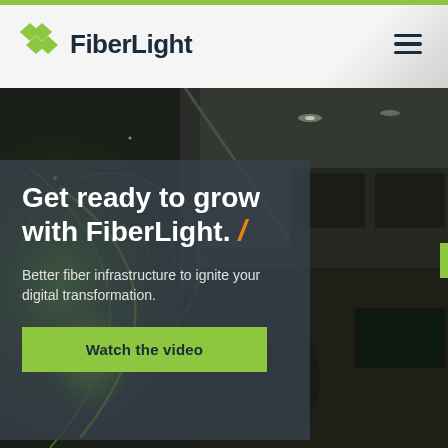FiberLight
[Figure (screenshot): Dark hero background image showing a technology/data center environment with green glowing light effects on the left side and a modern interior with screens on the right side.]
Get ready to grow with FiberLight. /
Better fiber infrastructure to ignite your digital transformation.
Watch the video